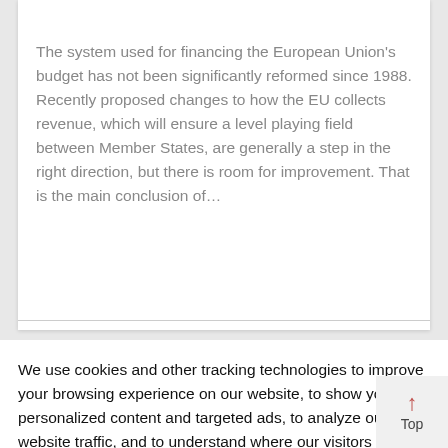The system used for financing the European Union's budget has not been significantly reformed since 1988. Recently proposed changes to how the EU collects revenue, which will ensure a level playing field between Member States, are generally a step in the right direction, but there is room for improvement. That is the main conclusion of...
We use cookies and other tracking technologies to improve your browsing experience on our website, to show you personalized content and targeted ads, to analyze our website traffic, and to understand where our visitors are coming from. You can read more about our Cookie Policy here
Cookie settings
ACCEPT and CLOSE